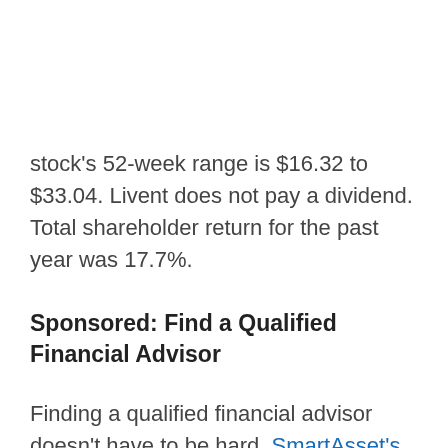stock's 52-week range is $16.32 to $33.04. Livent does not pay a dividend. Total shareholder return for the past year was 17.7%.
Sponsored: Find a Qualified Financial Advisor
Finding a qualified financial advisor doesn't have to be hard. SmartAsset's free tool matches you with up to 3 fiduciary financial